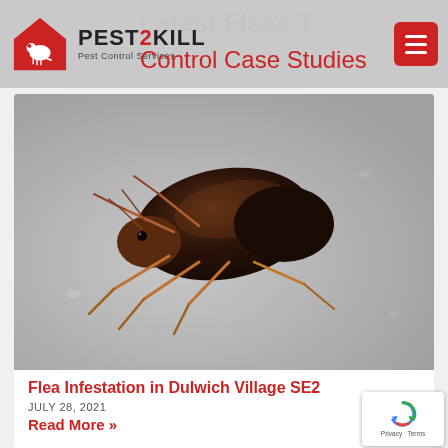PEST2KILL Pest Control Services
Control Case Studies
[Figure (photo): Close-up macro photograph of a flea on a light grey surface, showing dark brown body with reddish-brown legs and detailed exoskeleton]
Flea Infestation in Dulwich Village SE2
JULY 28, 2021
Read More »